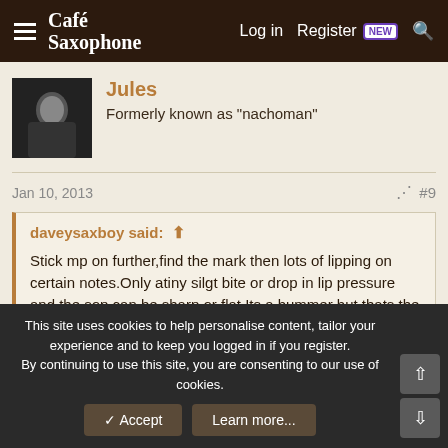Café Saxophone — Log in  Register  NEW
Jules
Formerly known as "nachoman"
Jan 10, 2013  #9
daveysaxboy said: ↑

Stick mp on further,find the mark then lots of lipping on certain notes.Only atiny silgt bite or drop in lip pressure and the sop can be sharp or flat.Its a bummer but thats the soprano for you.
that just about sums it up....... 🙂
This site uses cookies to help personalise content, tailor your experience and to keep you logged in if you register.
By continuing to use this site, you are consenting to our use of cookies.
✓ Accept   Learn more...